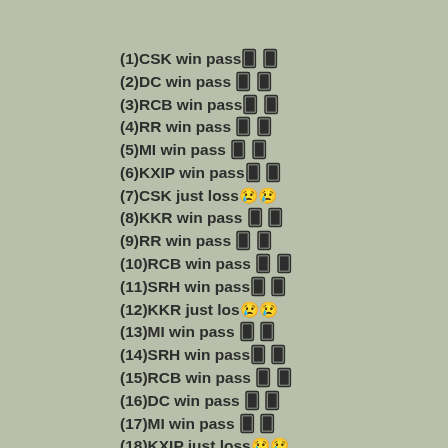(1)CSK win pass 🀄 🀄
(2)DC win pass 🀄 🀄
(3)RCB win pass 🀄 🀄
(4)RR win pass 🀄 🀄
(5)MI win pass 🀄 🀄
(6)KXIP win pass 🀄 🀄
(7)CSK just loss😢😢
(8)KKR win pass 🀄 🀄
(9)RR win pass 🀄 🀄
(10)RCB win pass 🀄 🀄
(11)SRH win pass 🀄 🀄
(12)KKR just los😢😢
(13)MI win pass 🀄 🀄
(14)SRH win pass 🀄 🀄
(15)RCB win pass 🀄 🀄
(16)DC win pass 🀄 🀄
(17)MI win pass 🀄 🀄
(18)KXIP just loss😢😢
(19)DC win pass 🀄 🀄
(20)MI win pass 🀄 🀄
(21)KKR win pass 🀄 🀄